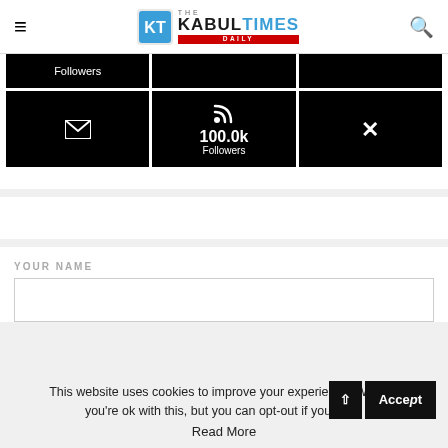The Kabul Times Daily
[Figure (infographic): Social media follower grid with black cells showing email, RSS (100.0k Followers), and Xing icons on black backgrounds]
YOUR NAME
This website uses cookies to improve your experience. We'll as you're ok with this, but you can opt-out if you wish. Accept Read More